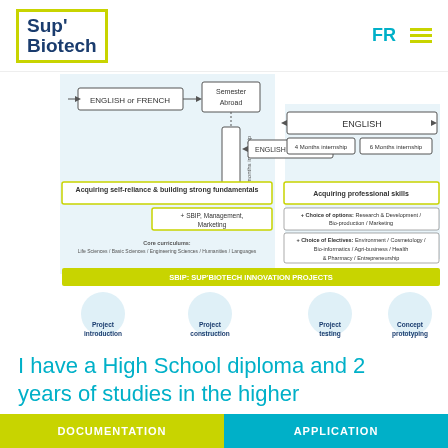[Figure (logo): Sup'Biotech logo with yellow-green border]
[Figure (infographic): Curriculum pathway diagram showing ENGLISH or FRENCH, Semester Abroad, 2 months internship, ENGLISH tracks, 4 Months internship, 6 Months internship, Acquiring self-reliance & building strong fundamentals, Acquiring professional skills, + SBIP Management Marketing, + Choice of options: Research & Development / Bio-production / Marketing, + Choice of Electives: Environment / Cosmetology / Bio-informatics / Agri-business / Health & Pharmacy / Entrepreneurship, Core curriculums: Life Sciences / Basic Sciences / Engineering Sciences / Humanities / Languages, SBIP: SUP'BIOTECH INNOVATION PROJECTS, Project introduction, Project construction, Project testing, Concept prototyping]
I have a High School diploma and 2 years of studies in the higher education, how to integrate Biotech?
DOCUMENTATION    APPLICATION